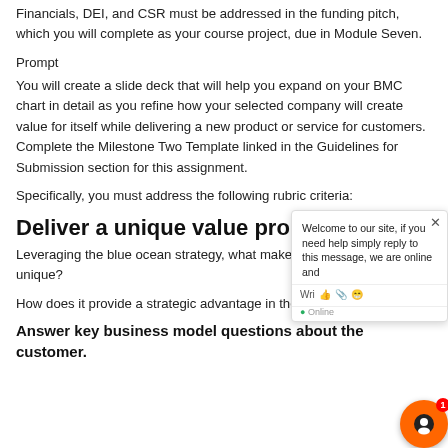Financials, DEI, and CSR must be addressed in the funding pitch, which you will complete as your course project, due in Module Seven.
Prompt
You will create a slide deck that will help you expand on your BMC chart in detail as you refine how your selected company will create value for itself while delivering a new product or service for customers. Complete the Milestone Two Template linked in the Guidelines for Submission section for this assignment.
Specifically, you must address the following rubric criteria:
Deliver a unique value proposition.
Leveraging the blue ocean strategy, what makes the product or service unique?
How does it provide a strategic advantage in the marketplace?
Answer key business model questions about the customer.